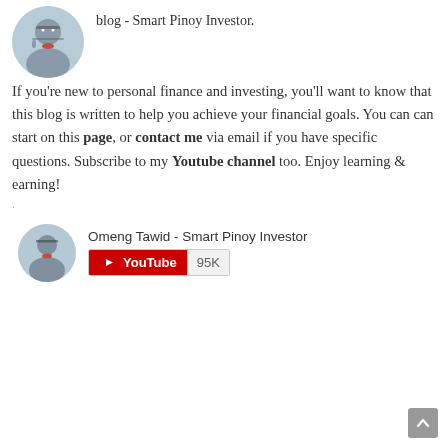[Figure (photo): Circular avatar photo of a man wearing glasses and a dark suit with red shirt]
blog - Smart Pinoy Investor.
If you're new to personal finance and investing, you'll want to know that this blog is written to help you achieve your financial goals. You can can start on this page, or contact me via email if you have specific questions. Subscribe to my Youtube channel too. Enjoy learning & earning!
.
[Figure (photo): Circular avatar photo of Omeng Tawid, a man wearing glasses]
Omeng Tawid - Smart Pinoy Investor
[Figure (screenshot): YouTube subscribe widget showing 95K subscribers]
[Figure (other): Scroll to top button in bottom right corner]